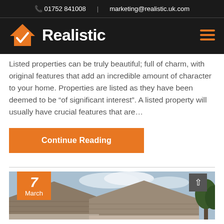01752 841008 | marketing@realistic.uk.com
[Figure (logo): Realistic logo with orange house/checkmark icon and white 'Realistic' text on dark background, with hamburger menu icon]
Listed properties can be truly beautiful; full of charm, with original features that add an incredible amount of character to your home. Properties are listed as they have been deemed to be “of significant interest”. A listed property will usually have crucial features that are…
Continue Reading
[Figure (photo): Rooftop of an old stone building with terracotta tiles under a partly cloudy sky, with date badge showing '7 March' and a scroll-to-top button]